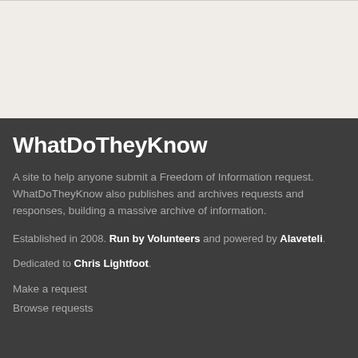WhatDoTheyKnow
A site to help anyone submit a Freedom of Information request. WhatDoTheyKnow also publishes and archives requests and responses, building a massive archive of information.
Established in 2008. Run by Volunteers and powered by Alaveteli.
Dedicated to Chris Lightfoot.
Make a request
Browse requests